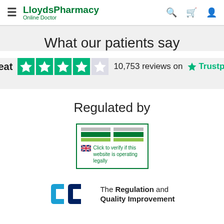LloydsPharmacy Online Doctor
What our patients say
Great  10,753 reviews on  Trustpilot
Regulated by
[Figure (logo): MHRA verified pharmacy logo with green bars and UK flag. Text: Click to verify if this website is operating legally]
[Figure (logo): RQIA logo (blue and navy C-shape bracket) with text: The Regulation and Quality Improvement]